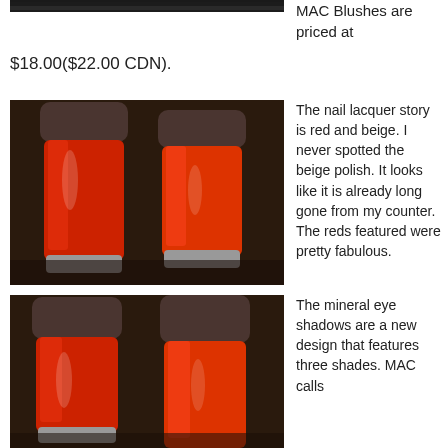[Figure (photo): Top portion of a dark photo (partially cropped at top of page), appears to be a MAC product image]
MAC Blushes are priced at
$18.00($22.00 CDN).
[Figure (photo): Two red MAC nail lacquer bottles with dark grey caps on a dark surface]
The nail lacquer story is red and beige. I never spotted the beige polish. It looks like it is already long gone from my counter. The reds featured were pretty fabulous.
[Figure (photo): Two red MAC mineral eye shadow containers with dark grey caps, partially visible at bottom of page]
The mineral eye shadows are a new design that features three shades. MAC calls